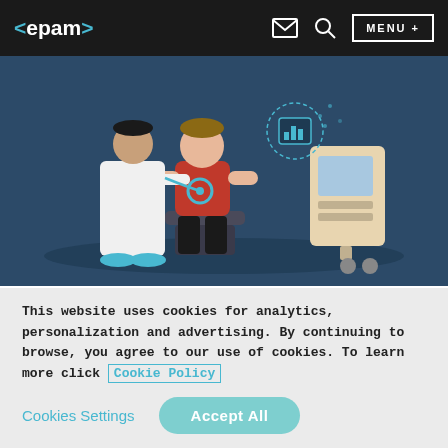<epam> [mail icon] [search icon] MENU +
[Figure (illustration): Medical illustration showing a doctor using a stethoscope on a seated patient in a red shirt, with a digital health monitor/chart icon and a medical machine in the background, on a dark blue background.]
VITAL SIGNS
Many patients feel scared and/or anxious when
This website uses cookies for analytics, personalization and advertising. By continuing to browse, you agree to our use of cookies. To learn more click Cookie Policy
Cookies Settings  Accept All